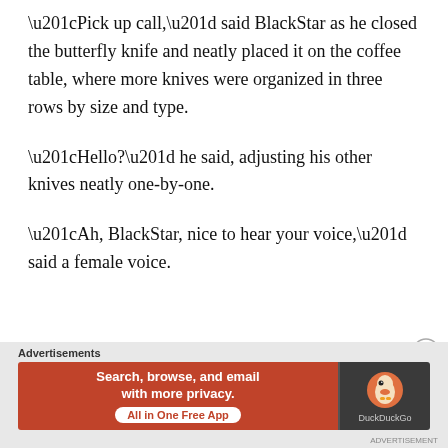“Pick up call,” said BlackStar as he closed the butterfly knife and neatly placed it on the coffee table, where more knives were organized in three rows by size and type.
“Hello?” he said, adjusting his other knives neatly one-by-one.
“Ah, BlackStar, nice to hear your voice,” said a female voice.
Advertisements
[Figure (other): DuckDuckGo advertisement banner: orange left panel with text 'Search, browse, and email with more privacy. All in One Free App' and dark right panel with DuckDuckGo duck logo and brand name.]